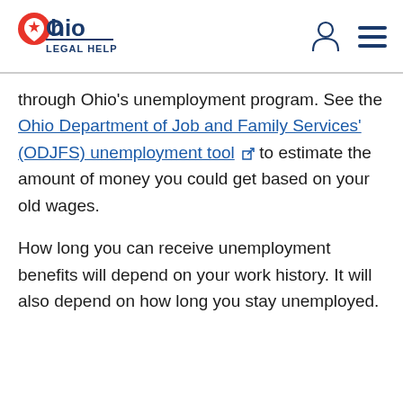Ohio Legal Help
through Ohio's unemployment program. See the Ohio Department of Job and Family Services' (ODJFS) unemployment tool to estimate the amount of money you could get based on your old wages.
How long you can receive unemployment benefits will depend on your work history. It will also depend on how long you stay unemployed.